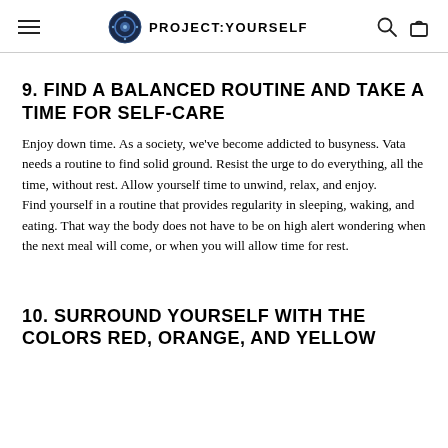PROJECT:YOURSELF
9. FIND A BALANCED ROUTINE AND TAKE A TIME FOR SELF-CARE
Enjoy down time. As a society, we've become addicted to busyness. Vata needs a routine to find solid ground. Resist the urge to do everything, all the time, without rest. Allow yourself time to unwind, relax, and enjoy.
Find yourself in a routine that provides regularity in sleeping, waking, and eating. That way the body does not have to be on high alert wondering when the next meal will come, or when you will allow time for rest.
10. SURROUND YOURSELF WITH THE COLORS RED, ORANGE, AND YELLOW